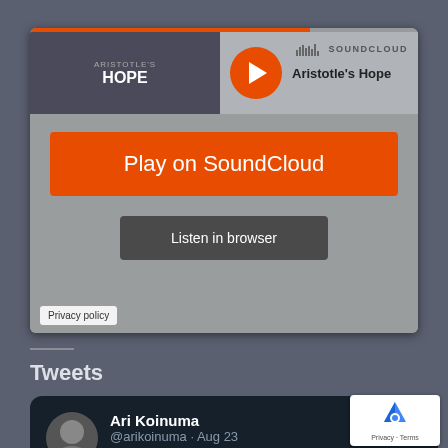[Figure (screenshot): SoundCloud embedded player widget showing 'Aristotle's Hope' with Play on SoundCloud and Listen in browser buttons]
Tweets
[Figure (screenshot): Tweet by Ari Koinuma @arikoinuma Aug 23: If you are anxious, give this a minute and half. It may loosen the tension. Anxiety is fear for the future based on the p[ast]. Something traumatizing happened and you [fear it'll happen again]]
Privacy · Terms